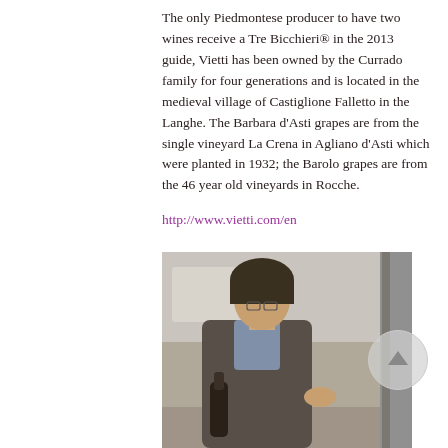The only Piedmontese producer to have two wines receive a Tre Bicchieri® in the 2013 guide, Vietti has been owned by the Currado family for four generations and is located in the medieval village of Castiglione Falletto in the Langhe. The Barbara d'Asti grapes are from the single vineyard La Crena in Agliano d'Asti which were planted in 1932; the Barolo grapes are from the 46 year old vineyards in Rocche.
http://www.vietti.com/en
[Figure (photo): A man in a grey blazer holding a wine bottle and gesturing with his hand, standing in what appears to be an interior space with a door frame visible on the right.]